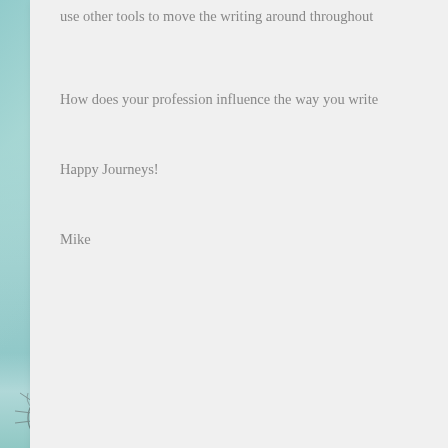use other tools to move the writing around throughout
How does your profession influence the way you write
Happy Journeys!
Mike
Posted by Mike on Apr 9, 2017 in Writing |